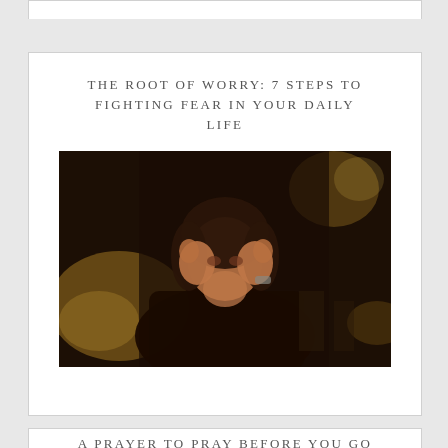THE ROOT OF WORRY: 7 STEPS TO FIGHTING FEAR IN YOUR DAILY LIFE
[Figure (photo): A distressed woman holding her head in her hands, with blurred warm bokeh lights in the background, suggesting worry or anxiety.]
A PRAYER TO PRAY BEFORE YOU GO